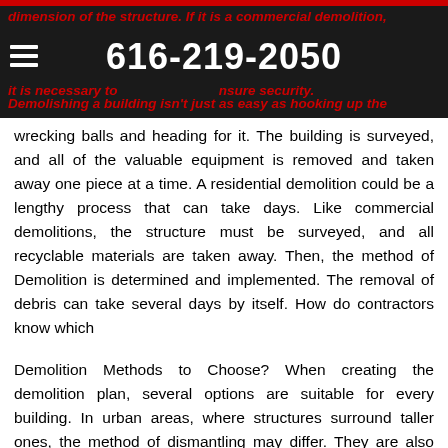dimension of the structure. If it is a commercial demolition, it is necessary to ensure security. Demolishing a building isn't just as easy as hooking up the
wrecking balls and heading for it. The building is surveyed, and all of the valuable equipment is removed and taken away one piece at a time. A residential demolition could be a lengthy process that can take days. Like commercial demolitions, the structure must be surveyed, and all recyclable materials are taken away. Then, the method of Demolition is determined and implemented. The removal of debris can take several days by itself. How do contractors know which
Demolition Methods to Choose? When creating the demolition plan, several options are suitable for every building. In urban areas, where structures surround taller ones, the method of dismantling may differ. They are also employed for commercial Demolition . The heavy equipment can be up to a 12,000-lb ball that accelerates